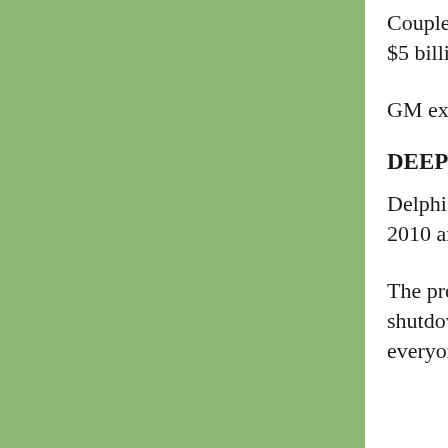Coupled with the loss of 6,500 jobs in 2005 more GM needed to reach its target of cutting 30,000 jobs by January 2008 — and it expected to capture about $5 billion in savings from a sharp reduction in the number of GM employees through a program negotiated with the UAW that continues to provide benefits.
GM expects to take a net after-tax charge of about the retirement program. Most of the charge will b
DEEP REDUCTIONS AT SOME PLANTS
Delphi, spun off from GM in 1999, filed for C wage and benefits costs. The company has s person hourly work force by 2010 and cut wa {and hourly employees do not get job benefit
The prospect of a strike at Delphi had been a immediate prospects, since the automaker sti face a costly production shutdown as a result had defused Delphi tensions. Some workers a are still weighing separate buyout offers. "It works for everyone," Wagoner said.